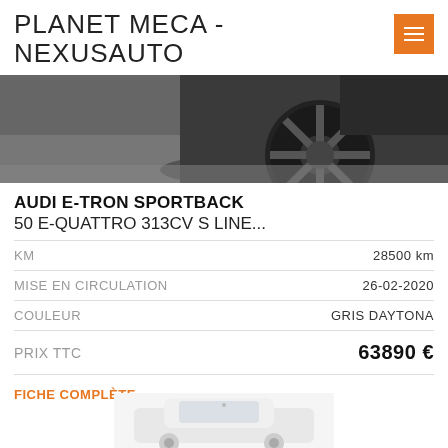PLANET MECA - NEXUSAUTO
[Figure (photo): Close-up photo of a dark-colored car wheel/tire on asphalt, partial view of a black vehicle]
AUDI E-TRON SPORTBACK
50 E-QUATTRO 313CV S LINE...
|  |  |
| --- | --- |
| KM | 28500 km |
| MISE EN CIRCULATION | 26-02-2020 |
| COULEUR | GRIS DAYTONA |
| PRIX TTC | 63890 € |
FICHE COMPLÈTE →
[Figure (photo): Partial view of a white car at the bottom of the page]